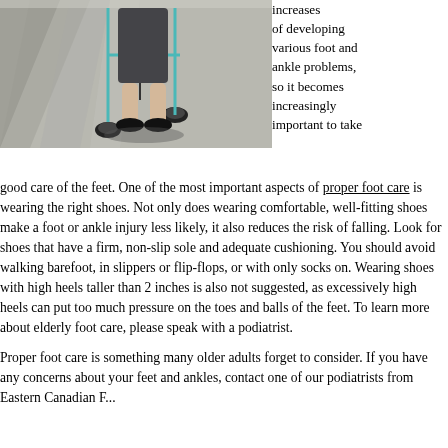[Figure (photo): Overhead view of an elderly person's legs and feet using a walker/rollator on a light-colored floor with shadows]
increases of developing various foot and ankle problems, so it becomes increasingly important to take good care of the feet. One of the most important aspects of proper foot care is wearing the right shoes. Not only does wearing comfortable, well-fitting shoes make a foot or ankle injury less likely, it also reduces the risk of falling. Look for shoes that have a firm, non-slip sole and adequate cushioning. You should avoid walking barefoot, in slippers or flip-flops, or with only socks on. Wearing shoes with high heels taller than 2 inches is also not suggested, as excessively high heels can put too much pressure on the toes and balls of the feet. To learn more about elderly foot care, please speak with a podiatrist.
Proper foot care is something many older adults forget to consider. If you have any concerns about your feet and ankles, contact one of our podiatrists from Eastern Canadian Foot...